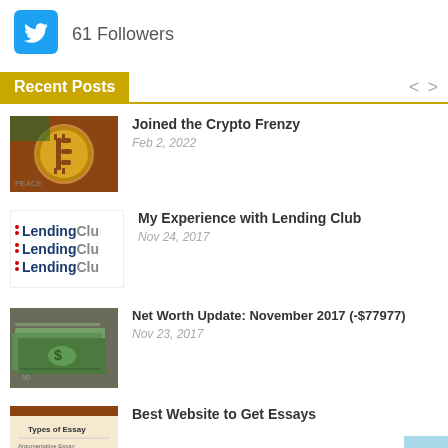[Figure (logo): Twitter bird logo icon in blue square]
61 Followers
Recent Posts
[Figure (photo): Bitcoin gold coin close-up photo]
Joined the Crypto Frenzy
Feb 2, 2022
[Figure (logo): LendingClub logo repeated three times]
My Experience with Lending Club
Nov 24, 2017
[Figure (photo): US dollar bills photo]
Net Worth Update: November 2017 (-$77977)
Nov 23, 2017
[Figure (screenshot): Types of Essay document thumbnail]
Best Website to Get Essays